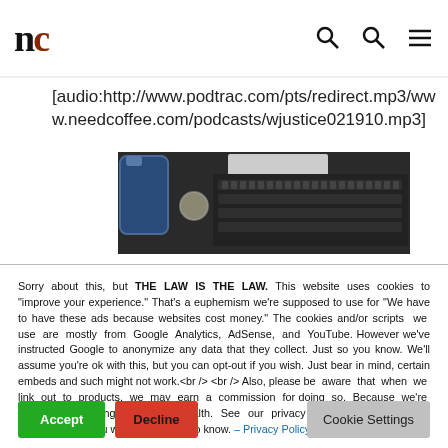nc
[audio:http://www.podtrac.com/pts/redirect.mp3/www.needcoffee.com/podcasts/wjustice021910.mp3]
[Figure (photo): Photo showing a blue bottle, coin, and keyboard on a desk]
Sorry about this, but THE LAW IS THE LAW. This website uses cookies to "improve your experience." That's a euphemism we're supposed to use for "We have to have these ads because websites cost money." The cookies and/or scripts we use are mostly from Google Analytics, AdSense, and YouTube. However we've instructed Google to anonymize any data that they collect. Just so you know. We'll assume you're ok with this, but you can opt-out if you wish. Just bear in mind, certain embeds and such might not work.<br /> <br /> Also, please be aware that when we link out to products, we may earn a commission for doing so. Because we're certainly not doing it for our health. See our privacy policy & terms of use for more info than you would ever want to know. - Privacy Policy & Terms of Use